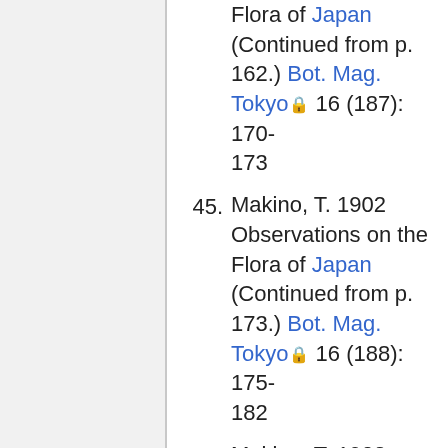Flora of Japan (Continued from p. 162.) Bot. Mag. Tokyo 16 (187): 170-173
45. Makino, T. 1902 Observations on the Flora of Japan (Continued from p. 173.) Bot. Mag. Tokyo 16 (188): 175-182
46. Makino, T. 1902 Observations on the Flora of Japan (Continued from p. 182.) Bot. Mag.